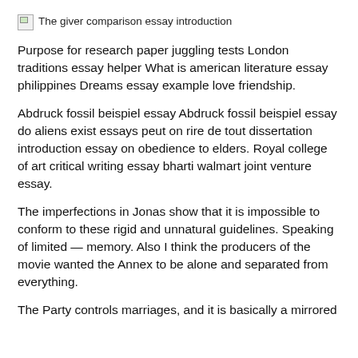[Figure (other): Broken image placeholder with alt text: The giver comparison essay introduction]
Purpose for research paper juggling tests London traditions essay helper What is american literature essay philippines Dreams essay example love friendship.
Abdruck fossil beispiel essay Abdruck fossil beispiel essay do aliens exist essays peut on rire de tout dissertation introduction essay on obedience to elders. Royal college of art critical writing essay bharti walmart joint venture essay.
The imperfections in Jonas show that it is impossible to conform to these rigid and unnatural guidelines. Speaking of limited — memory. Also I think the producers of the movie wanted the Annex to be alone and separated from everything.
The Party controls marriages, and it is basically a mirrored